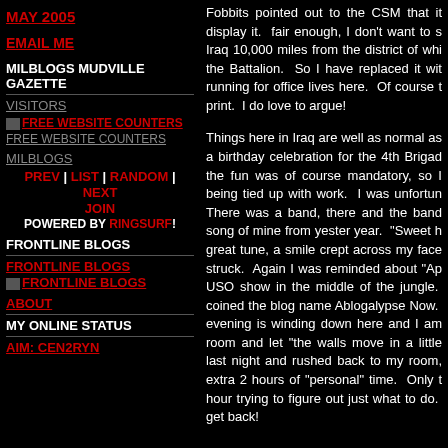MAY 2005
EMAIL ME
MILBLOGS MUDVILLE GAZETTE
VISITORS
FREE WEBSITE COUNTERS
FREE WEBSITE COUNTERS
MILBLOGS
PREV | LIST | RANDOM | NEXT JOIN POWERED BY RINGSURF!
FRONTLINE BLOGS
FRONTLINE BLOGS
FRONTLINE BLOGS
ABOUT
MY ONLINE STATUS
AIM: CEN2RYN
Fobbits pointed out to the CSM that it display it.  fair enough, I don't want to s Iraq 10,000 miles from the district of whi the Battalion.  So I have replaced it wit running for office lives here.  Of course t print.  I do love to argue!
Things here in Iraq are well as normal as a birthday celebration for the 4th Brigad the fun was of course mandatory, so I  being tied up with work.  I was unfortun There was a band, there and the band song of mine from yester year.  "Sweet h great tune, a smile crept across my face struck.  Again I was reminded about "Ap USO show in the middle of the jungle. coined the blog name Ablogalypse Now. evening is winding down here and I am room and let "the walls move in a little  last night and rushed back to my room, extra 2 hours of "personal" time.  Only t hour trying to figure out just what to do. get back!